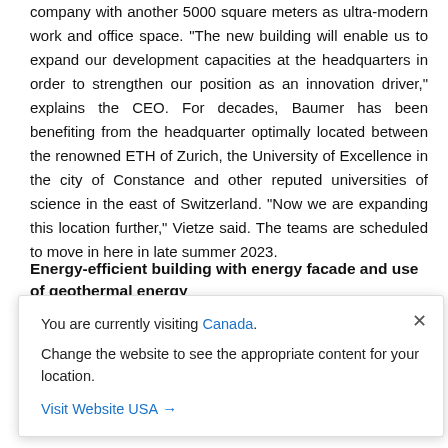company with another 5000 square meters as ultra-modern work and office space. "The new building will enable us to expand our development capacities at the headquarters in order to strengthen our position as an innovation driver," explains the CEO. For decades, Baumer has been benefiting from the headquarter optimally located between the renowned ETH of Zurich, the University of Excellence in the city of Constance and other reputed universities of science in the east of Switzerland. "Now we are expanding this location further," Vietze said. The teams are scheduled to move in here in late summer 2023.
Energy-efficient building with energy facade and use of geothermal energy
future ... being a milestone towards CO2 neutrality. "The Innovation Center is n... project, particularly in terms of sustainability and energy efficiency," Vietze explained. The
[Figure (screenshot): A popup/modal dialog box overlaying the page content. It reads: 'You are currently visiting Canada. Change the website to see the appropriate content for your location.' with a 'Visit Website USA →' link and an × close button.]